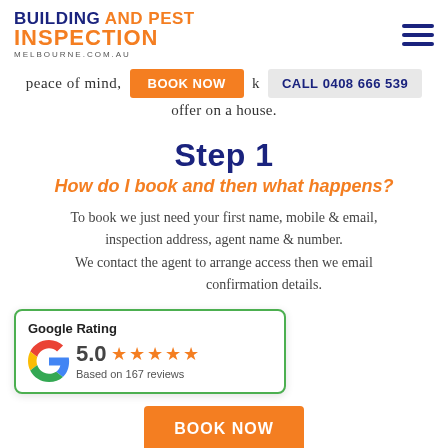[Figure (logo): Building and Pest Inspection Melbourne logo with orange and navy blue text]
peace of mind,   BOOK NOW   k   CALL 0408 666 539
offer on a house.
Step 1
How do I book and then what happens?
To book we just need your first name, mobile & email, inspection address, agent name & number. We contact the agent to arrange access then we email confirmation details.
[Figure (infographic): Google Rating widget showing 5.0 stars based on 167 reviews with green border]
[Figure (other): BOOK NOW orange button at bottom]